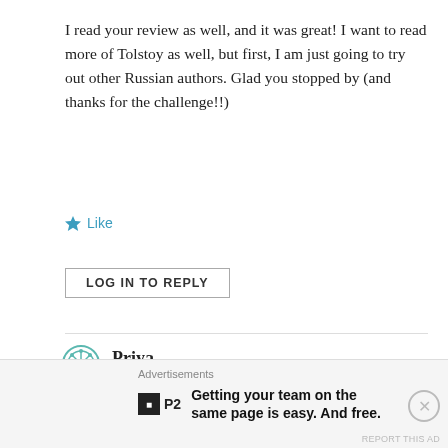I read your review as well, and it was great! I want to read more of Tolstoy as well, but first, I am just going to try out other Russian authors. Glad you stopped by (and thanks for the challenge!!)
Like
LOG IN TO REPLY
[Figure (illustration): Horizontal divider line]
Priya
April 16, 2012 at 5:27 am
Thanks. I really did LOVE it 😀 ! Glad you stopped by!
Like
Advertisements
Getting your team on the same page is easy. And free.